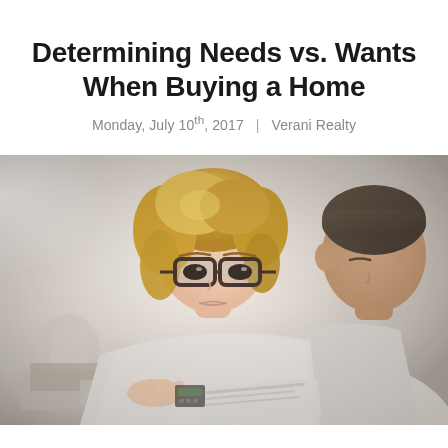Determining Needs vs. Wants When Buying a Home
Monday, July 10th, 2017  |  Verani Realty
[Figure (photo): A woman with blonde curly hair and dark-rimmed glasses and a man sitting beside her, both looking at a laptop and papers, appearing to be reviewing home-buying documents.]